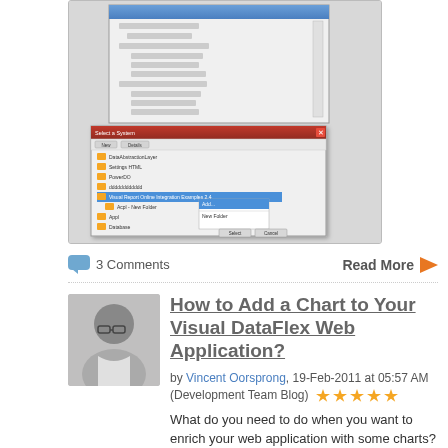[Figure (screenshot): Screenshot of a Visual DataFlex IDE showing two dialog windows: a tree-view file selection dialog and a context menu for adding new folders]
3 Comments
Read More
How to Add a Chart to Your Visual DataFlex Web Application?
by Vincent Oorsprong, 19-Feb-2011 at 05:57 AM (Development Team Blog)
What do you need to do when you want to enrich your web application with some charts? First of all it is important to find